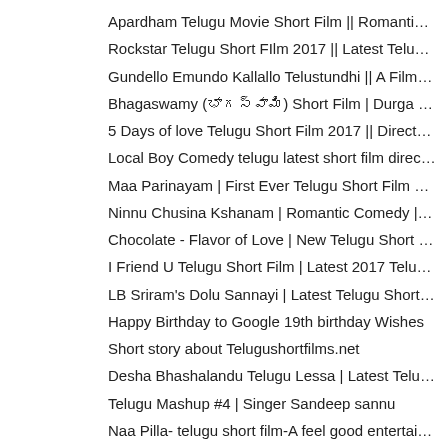Apardham Telugu Movie Short Film || Romantic Love ...
Rockstar Telugu Short FIlm 2017 || Latest Telugu S...
Gundello Emundo Kallallo Telustundhi || A Film By ...
Bhagaswamy (భాగస్వామి) Short Film | Durga Prasad C...
5 Days of love Telugu Short Film 2017 || Directed ...
Local Boy Comedy telugu latest short film directed...
Maa Parinayam | First Ever Telugu Short Film Shot ...
Ninnu Chusina Kshanam | Romantic Comedy | Telugu S...
Chocolate - Flavor of Love | New Telugu Short Film...
I Friend U Telugu Short Film | Latest 2017 Telugu ...
LB Sriram's Dolu Sannayi | Latest Telugu Short Fil...
Happy Birthday to Google 19th birthday Wishes
Short story about Telugushortfilms.net
Desha Bhashalandu Telugu Lessa | Latest Telugu Sho...
Telugu Mashup #4 | Singer Sandeep sannu
Naa Pilla- telugu short film-A feel good entertain...
The Letter | Suspense Thriller Telugu Short Film |...